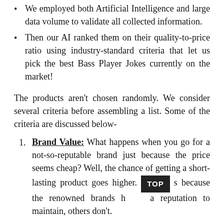We employed both Artificial Intelligence and large data volume to validate all collected information.
Then our AI ranked them on their quality-to-price ratio using industry-standard criteria that let us pick the best Bass Player Jokes currently on the market!
The products aren't chosen randomly. We consider several criteria before assembling a list. Some of the criteria are discussed below-
Brand Value: What happens when you go for a not-so-reputable brand just because the price seems cheap? Well, the chance of getting a short-lasting product goes higher. [TOP] s because the renowned brands have a reputation to maintain, others don't.
Top Bass Player Jokes brands try to offer some